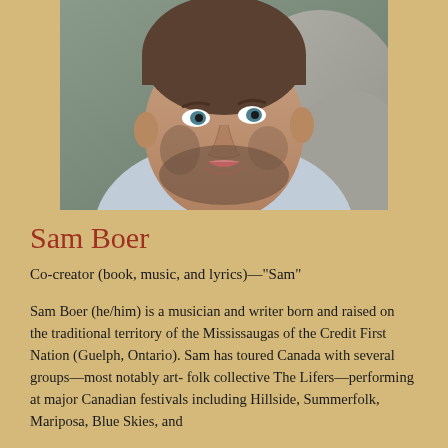[Figure (photo): Close-up portrait photo of Sam Boer, a young man with short brown beard and light eyes, wearing a light blue shirt, with rocky background visible]
Sam Boer
Co-creator (book, music, and lyrics)—"Sam"
Sam Boer (he/him) is a musician and writer born and raised on the traditional territory of the Mississaugas of the Credit First Nation (Guelph, Ontario). Sam has toured Canada with several groups—most notably art- folk collective The Lifers—performing at major Canadian festivals including Hillside, Summerfolk, Mariposa, Blue Skies, and